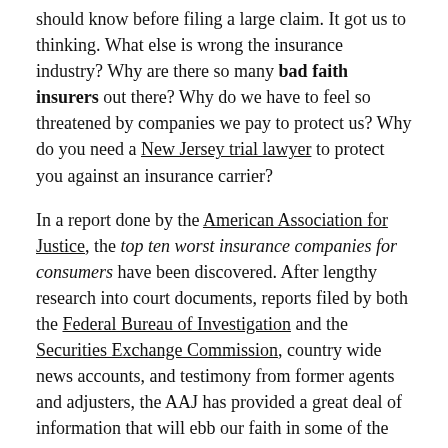should know before filing a large claim. It got us to thinking. What else is wrong the insurance industry? Why are there so many bad faith insurers out there? Why do we have to feel so threatened by companies we pay to protect us? Why do you need a New Jersey trial lawyer to protect you against an insurance carrier?
In a report done by the American Association for Justice, the top ten worst insurance companies for consumers have been discovered. After lengthy research into court documents, reports filed by both the Federal Bureau of Investigation and the Securities Exchange Commission, country wide news accounts, and testimony from former agents and adjusters, the AAJ has provided a great deal of information that will ebb our faith in some of the nations leading insurance companies.